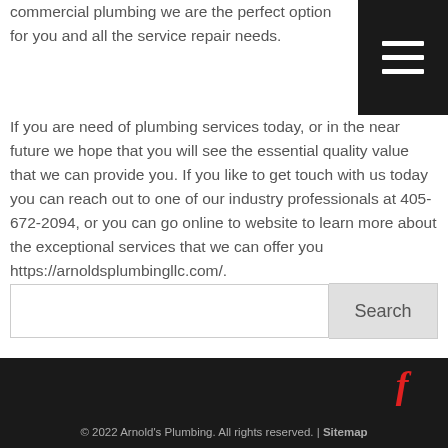commercial plumbing we are the perfect option for you and all the service repair needs.
[Figure (other): Dark hamburger menu button with three white horizontal lines on black background]
If you are need of plumbing services today, or in the near future we hope that you will see the essential quality value that we can provide you. If you like to get touch with us today you can reach out to one of our industry professionals at 405-672-2094, or you can go online to website to learn more about the exceptional services that we can offer you https://arnoldsplumbingllc.com/.
Search
© 2022 Arnold's Plumbing. All rights reserved. | Sitemap